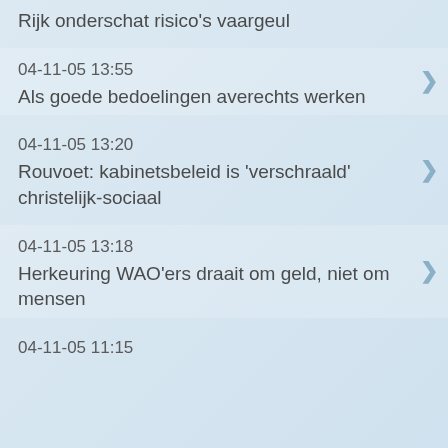Rijk onderschat risico’s vaargeul
04-11-05 13:55
Als goede bedoelingen averechts werken
04-11-05 13:20
Rouvoet: kabinetsbeleid is ‘verschraald’ christelijk-sociaal
04-11-05 13:18
Herkeuring WAO'ers draait om geld, niet om mensen
04-11-05 11:15